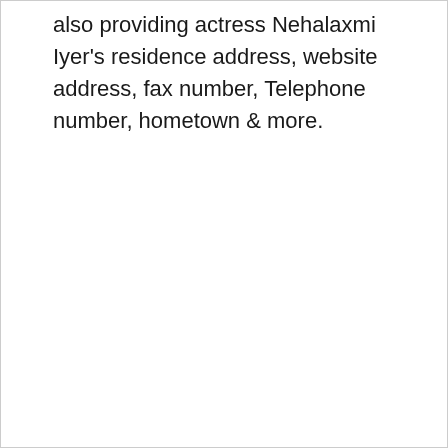also providing actress Nehalaxmi Iyer's residence address, website address, fax number, Telephone number, hometown & more.